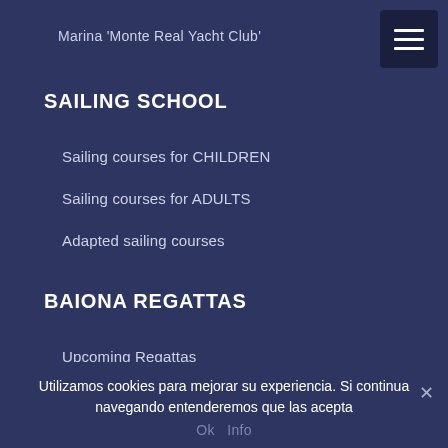Marina 'Monte Real Yacht Club'
SAILING SCHOOL
Sailing courses for CHILDREN
Sailing courses for ADULTS
Adapted sailing courses
BAIONA REGATTAS
Upcoming Regattas
Utilizamos cookies para mejorar su experiencia. Si continua navegando entenderemos que las acepta
Ok   Info